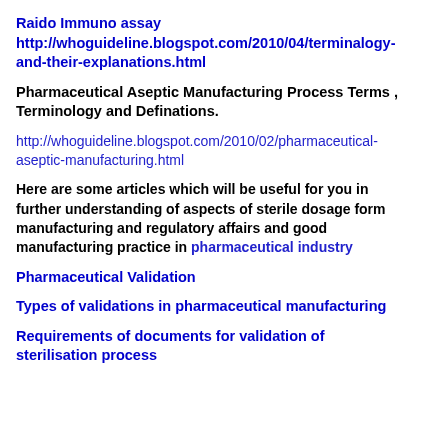Raido Immuno assay http://whoguideline.blogspot.com/2010/04/terminalogy-and-their-explanations.html
Pharmaceutical Aseptic Manufacturing Process Terms , Terminology and Definations.
http://whoguideline.blogspot.com/2010/02/pharmaceutical-aseptic-manufacturing.html
Here are some articles which will be useful for you in further understanding of aspects of sterile dosage form manufacturing and regulatory affairs and good manufacturing practice in pharmaceutical industry
Pharmaceutical Validation
Types of validations in pharmaceutical manufacturing
Requirements of documents for validation of sterilisation process